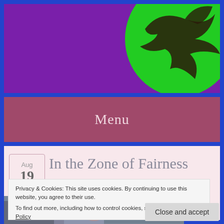[Figure (illustration): Website header banner with purple background and green circle logo with dark bird/animal illustration on the right side]
Menu
In the Zone of Fairness
[Figure (photo): Partial photo of people, partially obscured by cookie consent banner]
Privacy & Cookies: This site uses cookies. By continuing to use this website, you agree to their use.
To find out more, including how to control cookies, see here: Cookie Policy
Close and accept